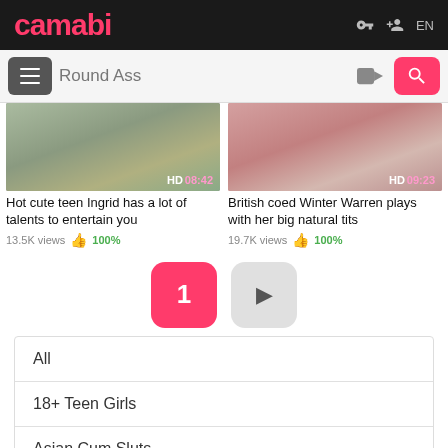camabi | EN
Round Ass
[Figure (screenshot): Video thumbnail left: HD 08:42]
[Figure (screenshot): Video thumbnail right: HD 09:23]
Hot cute teen Ingrid has a lot of talents to entertain you
13.5K views 100%
British coed Winter Warren plays with her big natural tits
19.7K views 100%
1 ▶
All
18+ Teen Girls
Asian Cum Sluts